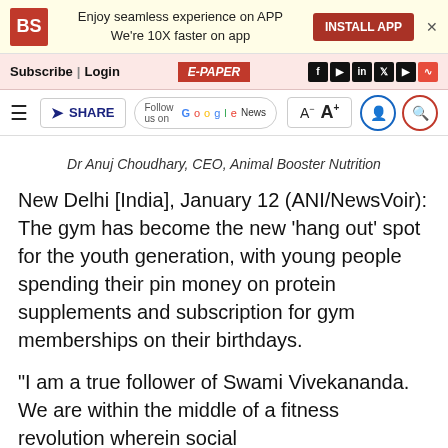[Figure (screenshot): Business Standard app install banner with BS logo, text 'Enjoy seamless experience on APP We're 10X faster on app', INSTALL APP button, and close X]
Subscribe| Login   E-PAPER   [social icons: f, telegram, in, twitter, youtube, rss]
[Figure (screenshot): Toolbar with hamburger menu, SHARE button, Follow us on Google News, font size A- A+ controls, user and search icons]
Dr Anuj Choudhary, CEO, Animal Booster Nutrition
New Delhi [India], January 12 (ANI/NewsVoir): The gym has become the new 'hang out' spot for the youth generation, with young people spending their pin money on protein supplements and subscription for gym memberships on their birthdays.
"I am a true follower of Swami Vivekananda. We are within the middle of a fitness revolution wherein social